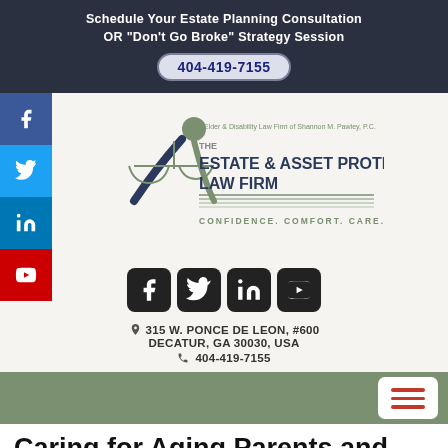Schedule Your Estate Planning Consultation OR "Don't Go Broke" Strategy Session
404-419-7155
[Figure (logo): The Estate & Asset Protection Law Firm logo — scales of justice with a human figure, Elder & Disability Law Firm of Shannon M. Pawley, P.C. Confidence. Comfort. Care.]
[Figure (infographic): Social media icons row: Facebook, Twitter, LinkedIn, YouTube]
315 W. PONCE DE LEON, #600
DECATUR, GA 30030, USA
404-419-7155
[Figure (infographic): Green navigation bar with hamburger menu button]
Caring for Aging Parents and